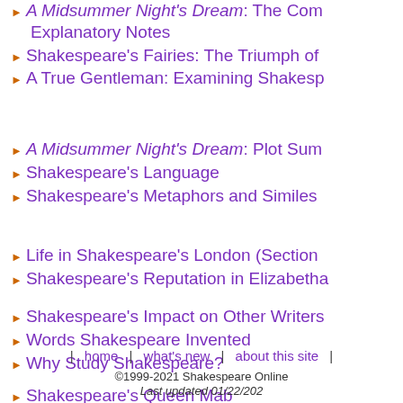A Midsummer Night's Dream: The Complete Explanatory Notes
Shakespeare's Fairies: The Triumph of…
A True Gentleman: Examining Shakesp…
A Midsummer Night's Dream: Plot Sum…
Shakespeare's Language
Shakespeare's Metaphors and Similes…
Life in Shakespeare's London (Section…
Shakespeare's Reputation in Elizabetha…
Shakespeare's Impact on Other Writers…
Words Shakespeare Invented
Why Study Shakespeare?
Shakespeare's Queen Mab
Top 10 Shakespeare Plays
Shakespeare's Blank Verse
Elements of Comedy
How many plays did Shakespeare write…
| home | what's new | about this site | ©1999-2021 Shakespeare Online Last updated 01/22/202…